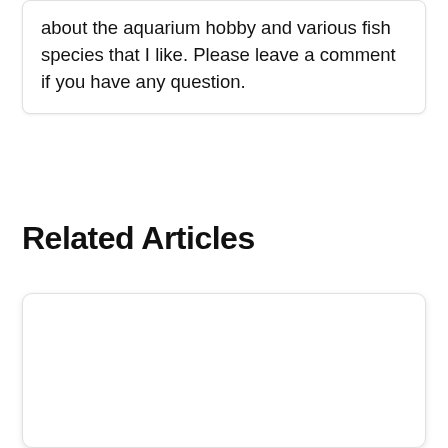about the aquarium hobby and various fish species that I like. Please leave a comment if you have any question.
Related Articles
[Figure (other): A blank white card/box placeholder for a related article thumbnail or content card, with rounded corners and a subtle shadow.]